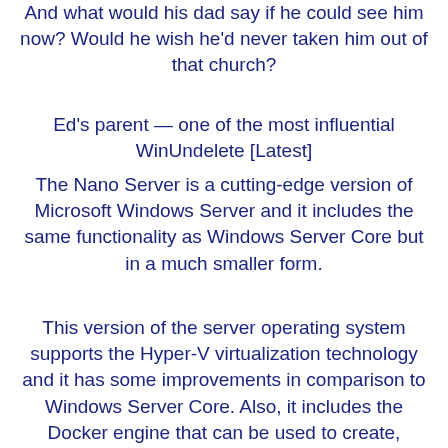And what would his dad say if he could see him now? Would he wish he'd never taken him out of that church?
Ed's parent — one of the most influential WinUndelete [Latest]
The Nano Server is a cutting-edge version of Microsoft Windows Server and it includes the same functionality as Windows Server Core but in a much smaller form.
This version of the server operating system supports the Hyper-V virtualization technology and it has some improvements in comparison to Windows Server Core. Also, it includes the Docker engine that can be used to create, manage, and deploy virtual containers. With this new server version, Microsoft provided better networking functionalities, advanced storage features, and enhanced data protection as compared to Windows Server. With the help of Nano